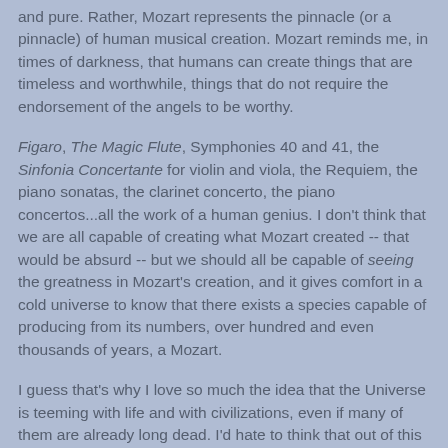and pure. Rather, Mozart represents the pinnacle (or a pinnacle) of human musical creation. Mozart reminds me, in times of darkness, that humans can create things that are timeless and worthwhile, things that do not require the endorsement of the angels to be worthy.
Figaro, The Magic Flute, Symphonies 40 and 41, the Sinfonia Concertante for violin and viola, the Requiem, the piano sonatas, the clarinet concerto, the piano concertos...all the work of a human genius. I don't think that we are all capable of creating what Mozart created -- that would be absurd -- but we should all be capable of seeing the greatness in Mozart's creation, and it gives comfort in a cold universe to know that there exists a species capable of producing from its numbers, over hundred and even thousands of years, a Mozart.
I guess that's why I love so much the idea that the Universe is teeming with life and with civilizations, even if many of them are already long dead. I'd hate to think that out of this entire Universe of ours, there's only been one Mozart.